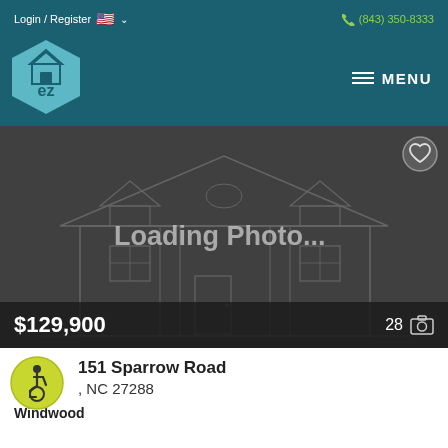Login / Register  (843) 350-8333
[Figure (logo): EZ Home Search hexagon logo in teal with 'ez' text and house icon]
[Figure (photo): Loading Photo... placeholder image showing a wireframe house outline on dark background with $129,900 price and 28 photos count]
151 Sparrow Road
, NC 27288
[Figure (illustration): Wheelchair accessibility badge icon]
Windwood